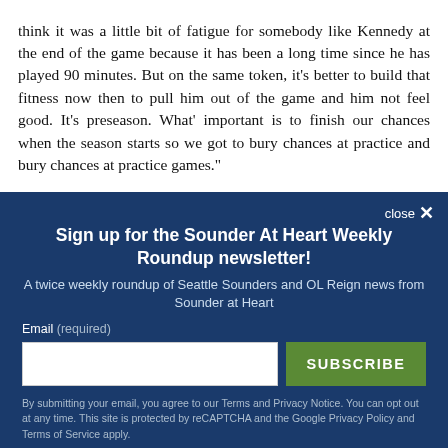think it was a little bit of fatigue for somebody like Kennedy at the end of the game because it has been a long time since he has played 90 minutes. But on the same token, it's better to build that fitness now then to pull him out of the game and him not feel good. It's preseason. What' important is to finish our chances when the season starts so we got to bury chances at practice and bury chances at practice games."
Sign up for the Sounder At Heart Weekly Roundup newsletter!
A twice weekly roundup of Seattle Sounders and OL Reign news from Sounder at Heart
Email (required)
By submitting your email, you agree to our Terms and Privacy Notice. You can opt out at any time. This site is protected by reCAPTCHA and the Google Privacy Policy and Terms of Service apply.